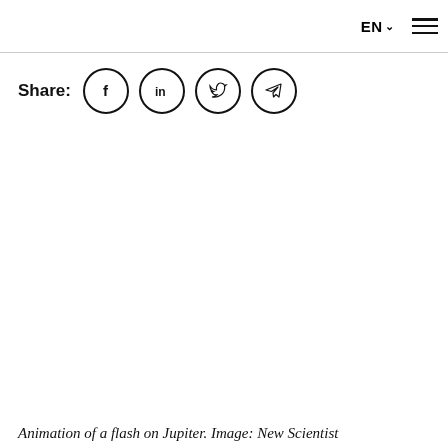EN ▾ ☰
Share: [Facebook] [LinkedIn] [Twitter] [Telegram]
Animation of a flash on Jupiter. Image: New Scientist